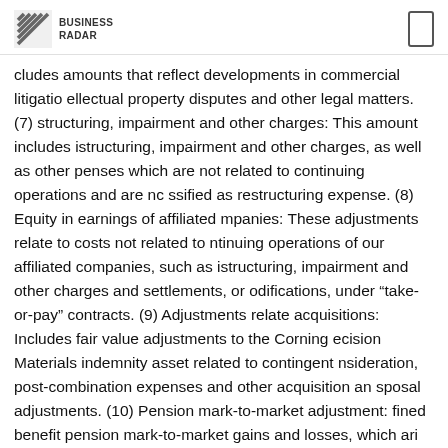BUSINESS RADAR
cludes amounts that reflect developments in commercial litigation, intellectual property disputes and other legal matters. (7) Restructuring, impairment and other charges: This amount includes restructuring, impairment and other charges, as well as other expenses which are not related to continuing operations and are not classified as restructuring expense. (8) Equity in earnings of affiliated companies: These adjustments relate to costs not related to continuing operations of our affiliated companies, such as restructuring, impairment and other charges and settlements, or modifications, under “take-or-pay” contracts. (9) Adjustments related to acquisitions: Includes fair value adjustments to the Corning Precision Materials indemnity asset related to contingent consideration, post-combination expenses and other acquisition and disposal adjustments. (10) Pension mark-to-market adjustment: Defined benefit pension mark-to-market gains and losses, which arise from changes in actuarial assumptions and the difference between actual and expected returns on plan assets and discount rates. (11)